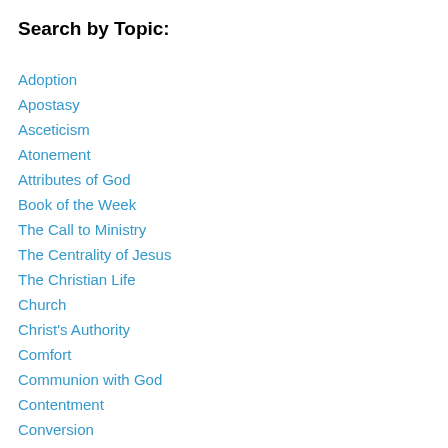Search by Topic:
Adoption
Apostasy
Asceticism
Atonement
Attributes of God
Book of the Week
The Call to Ministry
The Centrality of Jesus
The Christian Life
Church
Christ's Authority
Comfort
Communion with God
Contentment
Conversion
Election
Epistemology
Evangelism